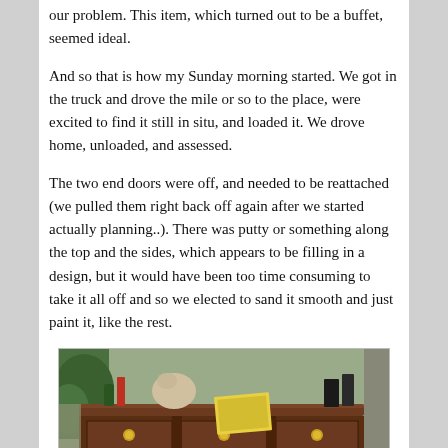our problem. This item, which turned out to be a buffet, seemed ideal.
And so that is how my Sunday morning started. We got in the truck and drove the mile or so to the place, were excited to find it still in situ, and loaded it. We drove home, unloaded, and assessed.
The two end doors were off, and needed to be reattached (we pulled them right back off again after we started actually planning..). There was putty or something along the top and the sides, which appears to be filling in a design, but it would have been too time consuming to take it all off and so we elected to sand it smooth and just paint it, like the rest.
[Figure (photo): A dark wood buffet/sideboard with three drawers featuring brass ring pulls, cabinet doors below, sitting in what appears to be a garage or workshop. Various items are on top of the buffet including a magazine.]